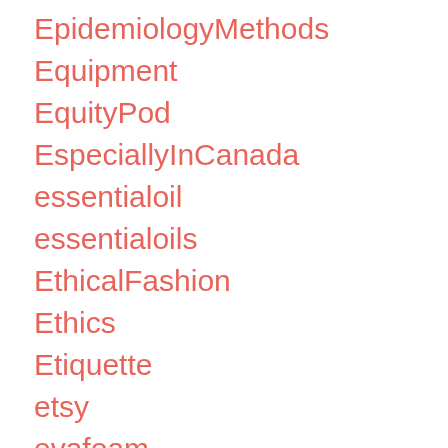EpidemiologyMethods
Equipment
EquityPod
EspeciallyInCanada
essentialoil
essentialoils
EthicalFashion
Ethics
Etiquette
etsy
evafoam
Events
EverydayCarry
evo
ExerciseAndFitness